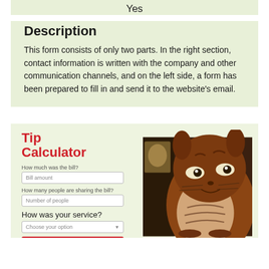Yes
Description
This form consists of only two parts. In the right section, contact information is written with the company and other communication channels, and on the left side, a form has been prepared to fill in and send it to the website's email.
[Figure (screenshot): Screenshot of a Tip Calculator web form showing fields for bill amount, number of people sharing the bill, a 'How was your service?' dropdown, and a red submit button. Next to the form is a photo of a large wooden Totoro (anime character) carving or costume, brown-toned with distinctive markings.]